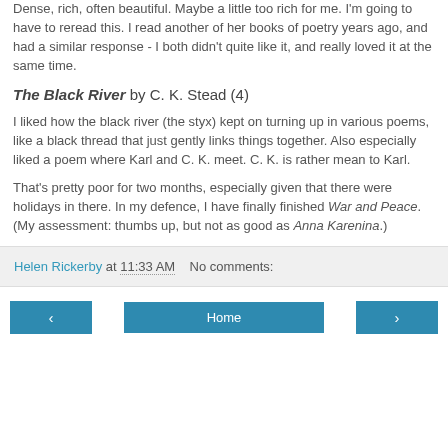Dense, rich, often beautiful. Maybe a little too rich for me. I'm going to have to reread this. I read another of her books of poetry years ago, and had a similar response - I both didn't quite like it, and really loved it at the same time.
The Black River by C. K. Stead (4)
I liked how the black river (the styx) kept on turning up in various poems, like a black thread that just gently links things together. Also especially liked a poem where Karl and C. K. meet. C. K. is rather mean to Karl.
That's pretty poor for two months, especially given that there were holidays in there. In my defence, I have finally finished War and Peace. (My assessment: thumbs up, but not as good as Anna Karenina.)
Helen Rickerby at 11:33 AM   No comments: